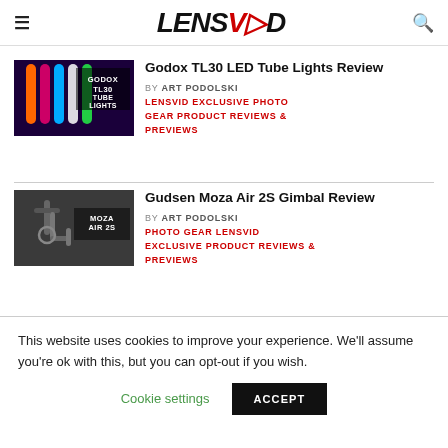LENSVID
[Figure (photo): Godox TL30 Tube Lights product image with colorful LED tubes on dark background]
Godox TL30 LED Tube Lights Review
BY ART PODOLSKI
LENSVID EXCLUSIVE PHOTO GEAR PRODUCT REVIEWS & PREVIEWS
[Figure (photo): Gudsen Moza Air 2S Gimbal product image on dark background]
Gudsen Moza Air 2S Gimbal Review
BY ART PODOLSKI
PHOTO GEAR LENSVID EXCLUSIVE PRODUCT REVIEWS & PREVIEWS
This website uses cookies to improve your experience. We'll assume you're ok with this, but you can opt-out if you wish.
Cookie settings  ACCEPT